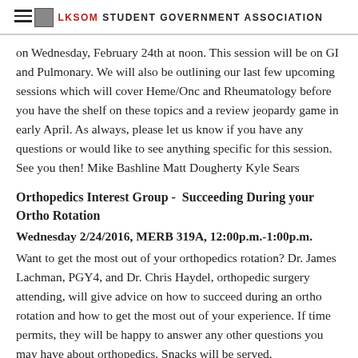LKSOM STUDENT GOVERNMENT ASSOCIATION
on Wednesday, February 24th at noon. This session will be on GI and Pulmonary. We will also be outlining our last few upcoming sessions which will cover Heme/Onc and Rheumatology before you have the shelf on these topics and a review jeopardy game in early April. As always, please let us know if you have any questions or would like to see anything specific for this session. See you then! Mike Bashline Matt Dougherty Kyle Sears
Orthopedics Interest Group - Succeeding During your Ortho Rotation
Wednesday 2/24/2016, MERB 319A, 12:00p.m.-1:00p.m.
Want to get the most out of your orthopedics rotation? Dr. James Lachman, PGY4, and Dr. Chris Haydel, orthopedic surgery attending, will give advice on how to succeed during an ortho rotation and how to get the most out of your experience. If time permits, they will be happy to answer any other questions you may have about orthopedics. Snacks will be served.